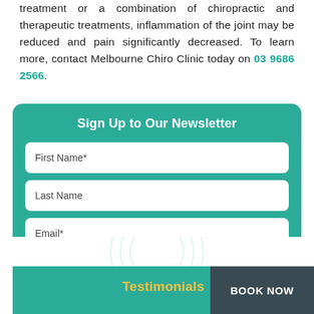treatment or a combination of chiropractic and therapeutic treatments, inflammation of the joint may be reduced and pain significantly decreased. To learn more, contact Melbourne Chiro Clinic today on 03 9686 2566.
Sign Up to Our Newsletter
First Name*
Last Name
Email*
SIGN UP
Testimonials
BOOK NOW